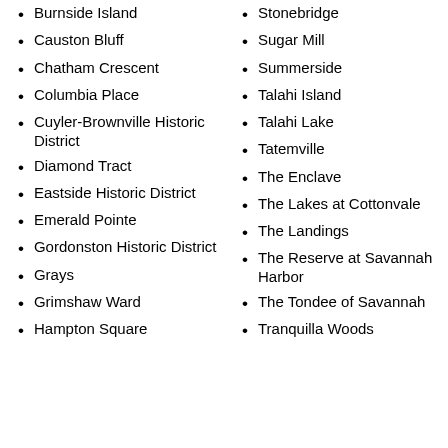Burnside Island
Causton Bluff
Chatham Crescent
Columbia Place
Cuyler-Brownville Historic District
Diamond Tract
Eastside Historic District
Emerald Pointe
Gordonston Historic District
Grays
Grimshaw Ward
Hampton Square
Stonebridge
Sugar Mill
Summerside
Talahi Island
Talahi Lake
Tatemville
The Enclave
The Lakes at Cottonvale
The Landings
The Reserve at Savannah Harbor
The Tondee of Savannah
Tranquilla Woods